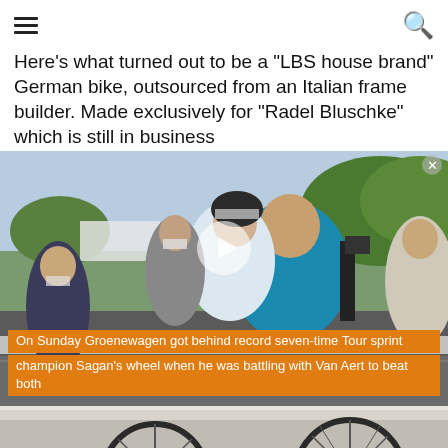hamburger menu and search icon
Here's what turned out to be a "LBS house brand" German bike, outsourced from an Italian frame builder. Made exclusively for "Radel Bluschke" which is still in business
[Figure (photo): Video still showing people embracing at what appears to be a cycling event finish line area, with a play button overlay. Two lines of orange caption text at the bottom read: 'On Sunday Groenewagen got behind record seven-time Tour sprint champion Sagan's wheel when he was battling with Van Aert to beat both']
[Figure (photo): Bottom portion showing two bicycle wheels resting against a white barrier on a road surface]